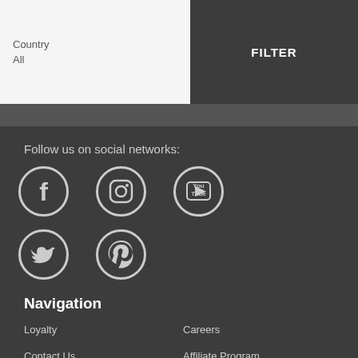Country
All
FILTER
Follow us on social networks:
[Figure (illustration): Five social media icons in circles: Facebook, Instagram, YouTube, Twitter, Pinterest]
Navigation
Loyalty
Careers
Contact Us
Affiliate Program
Best Price
Travel Agents
Guarantee
FEEDBACK